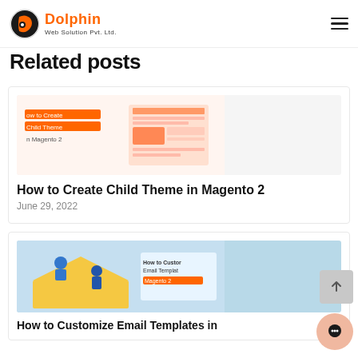Dolphin Web Solution Pvt. Ltd.
Related posts
[Figure (screenshot): Thumbnail image for 'How to Create Child Theme in Magento 2' blog post showing orange UI mockup]
How to Create Child Theme in Magento 2
June 29, 2022
[Figure (illustration): Thumbnail image for 'How to Customize Email Templates in Magento 2' blog post showing light blue illustration with person on envelope]
How to Customize Email Templates in